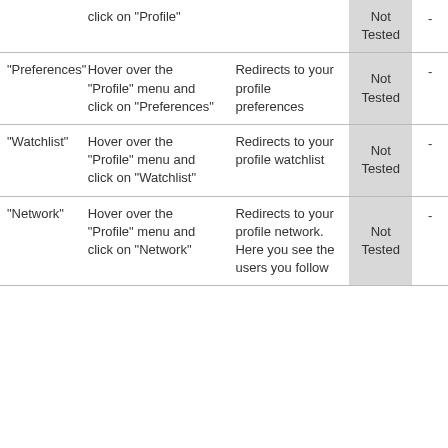|  |  |  |  |  |
| --- | --- | --- | --- | --- |
|  | click on "Profile" |  | Not Tested | - |
| "Preferences" | Hover over the "Profile" menu and click on "Preferences" | Redirects to your profile preferences | Not Tested | - |
| "Watchlist" | Hover over the "Profile" menu and click on "Watchlist" | Redirects to your profile watchlist | Not Tested | - |
| "Network" | Hover over the "Profile" menu and click on "Network" | Redirects to your profile network. Here you see the users you follow | Not Tested | - |